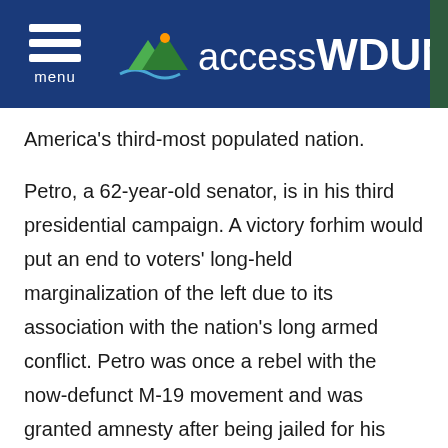accessWDUN
America's third-most populated nation.
Petro, a 62-year-old senator, is in his third presidential campaign. A victory forhim would put an end to voters' long-held marginalization of the left due to its association with the nation's long armed conflict. Petro was once a rebel with the now-defunct M-19 movement and was granted amnesty after being jailed for his involvement with the group.
He has proposed ambitious pension, tax, health and agricultural reforms and changes to how Colombia fights drug cartels and other armed